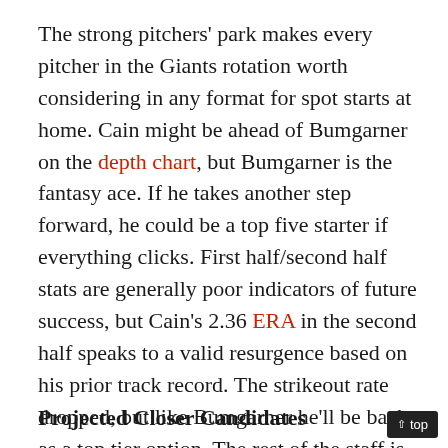The strong pitchers' park makes every pitcher in the Giants rotation worth considering in any format for spot starts at home. Cain might be ahead of Bumgarner on the depth chart, but Bumgarner is the fantasy ace. If he takes another step forward, he could be a top five starter if everything clicks. First half/second half stats are generally poor indicators of future success, but Cain's 2.36 ERA in the second half speaks to a valid resurgence based on his prior track record. The strikeout rate dropped, but like Bumgarner he'll be back as a top tier option. The rest of the staff is for deeper leagues, but Hudson's move from Atlanta to San Francisco gives him a definite bump up in value.
Projected Closer Candidates